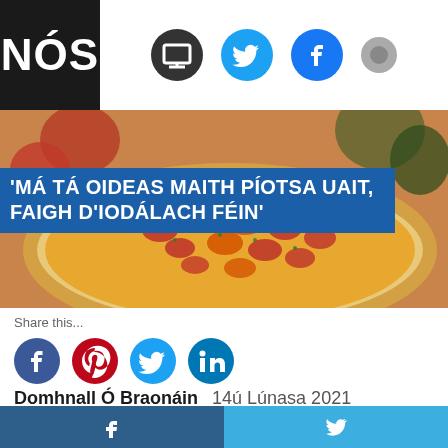NÓS
[Figure (photo): Close-up photo of a pizza with tomatoes and toppings, forming the hero image behind the article title]
'Má tá oideas maith píotsa uait, faigh d'Iodálach féin'
Share this...
Domhnall Ó Braonáin  14ú Lúnasa 2021
f  [twitter bird icon]